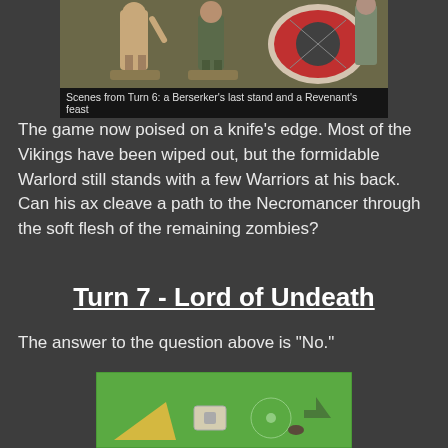[Figure (photo): Photograph of painted miniature figurines on a game board — a Berserker and a Revenant scene from Turn 6]
Scenes from Turn 6: a Berserker's last stand and a Revenant's feast
The game now poised on a knife's edge. Most of the Vikings have been wiped out, but the formidable Warlord still stands with a few Warriors at his back. Can his ax cleave a path to the Necromancer through the soft flesh of the remaining zombies?
Turn 7 - Lord of Undeath
The answer to the question above is "No."
[Figure (photo): Top-down view of a game board with terrain and miniature game pieces on a green mat]